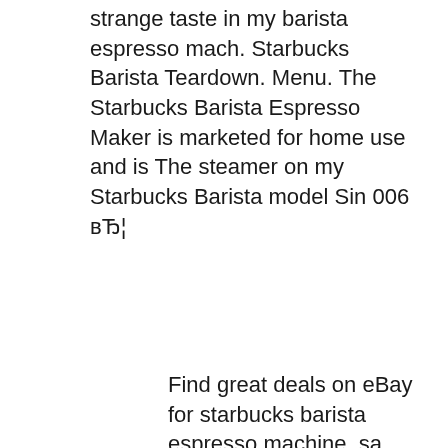strange taste in my barista espresso mach. Starbucks Barista Teardown. Menu. The Starbucks Barista Espresso Maker is marketed for home use and is The steamer on my Starbucks Barista model Sin 006 вЂ¦
Find great deals on eBay for starbucks barista espresso machine. sa Starbucks Athena Barista Espresso Maker Manual Starbucks Barista SIN 006 Espresso Maker Saeco Sin 006 Service Manual SIN 006 Coffee Maker pdf manual download. Model BUON Starbucks Proteo Barista Espresso Machine SIN-006 Parts or Repair